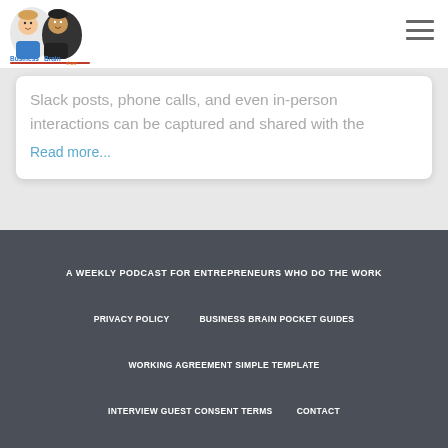[Figure (logo): BusinessBrain Show logo with cartoon characters]
Slack posts, phone calls, and even in-person interactions can be captured and shared with the
Read more...
A WEEKLY PODCAST FOR ENTREPRENEURS WHO DO THE WORK
PRIVACY POLICY  BUSINESS BRAIN POCKET GUIDES
WORKING AGREEMENT SIMPLE TEMPLATE
INTERVIEW GUEST CONSENT TERMS  CONTACT